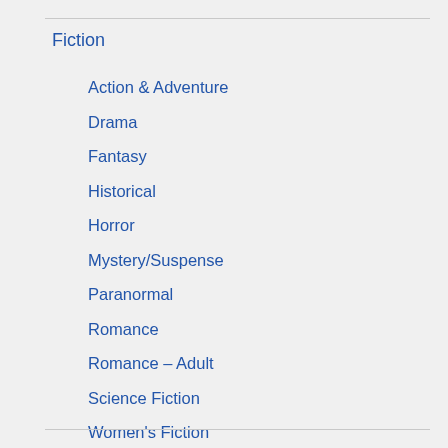Fiction
Action & Adventure
Drama
Fantasy
Historical
Horror
Mystery/Suspense
Paranormal
Romance
Romance – Adult
Science Fiction
Women's Fiction